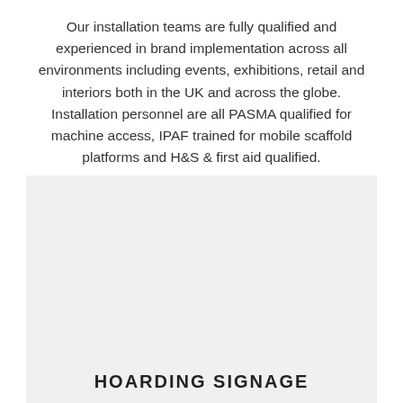Our installation teams are fully qualified and experienced in brand implementation across all environments including events, exhibitions, retail and interiors both in the UK and across the globe. Installation personnel are all PASMA qualified for machine access, IPAF trained for mobile scaffold platforms and H&S & first aid qualified.
[Figure (photo): A light grey rectangular placeholder image area representing a hoarding signage photo]
HOARDING SIGNAGE